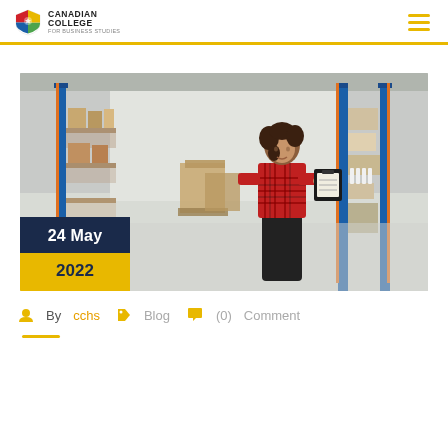Canadian College for Business Studies
[Figure (photo): Woman in red plaid shirt holding a clipboard in a warehouse with blue metal shelving racks and cardboard boxes. Date overlay shows '24 May 2022'.]
By cchs  Blog  (0) Comment